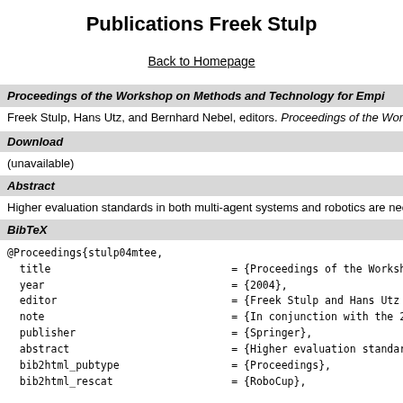Publications Freek Stulp
Back to Homepage
Proceedings of the Workshop on Methods and Technology for Empi...
Freek Stulp, Hans Utz, and Bernhard Nebel, editors. Proceedings of the Worksho...
Download
(unavailable)
Abstract
Higher evaluation standards in both multi-agent systems and robotics are necess...
BibTeX
@Proceedings{stulp04mtee,
  title = {Proceedings of the Workshop on Methods and
  year = {2004},
  editor = {Freek Stulp and Hans Utz and Bernhard Nebe
  note = {In conjunction with the 27th German Confer
  publisher = {Springer},
  abstract = {Higher evaluation standards in both multi-
  bib2html_pubtype = {Proceedings},
  bib2html_rescat = {RoboCup},